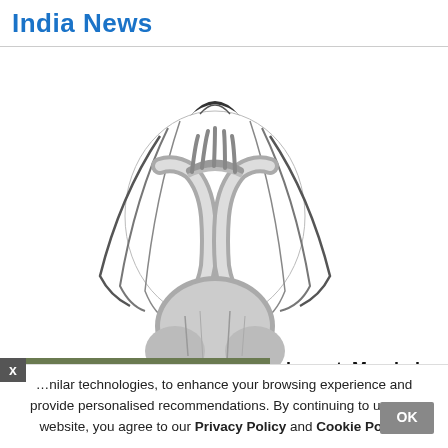India News
[Figure (illustration): Black and white pencil sketch of a distressed person (woman) sitting with knees drawn up and hands covering face, hair flowing down]
[Figure (photo): Accident scene photo showing a yellow warning triangle sign with exclamation mark labeled 'Accident', with traffic cone and blurred accident scene in background]
ses, Kolkata lowest, Mumbai
nilar technologies, to enhance your browsing experience and provide personalised recommendations. By continuing to use our website, you agree to our Privacy Policy and Cookie Policy.